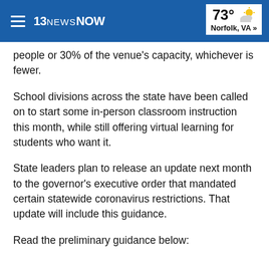13NEWS NOW  73° Norfolk, VA »
people or 30% of the venue's capacity, whichever is fewer.
School divisions across the state have been called on to start some in-person classroom instruction this month, while still offering virtual learning for students who want it.
State leaders plan to release an update next month to the governor's executive order that mandated certain statewide coronavirus restrictions. That update will include this guidance.
Read the preliminary guidance below: